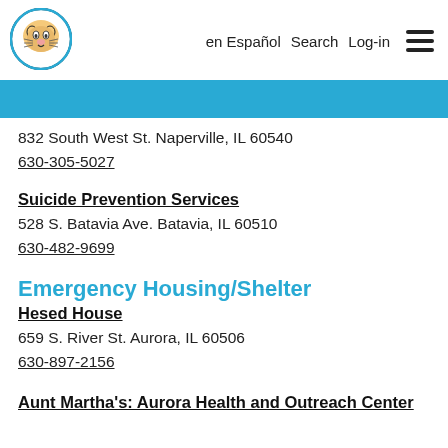en Español  Search  Log-in
832 South West St. Naperville, IL 60540
630-305-5027
Suicide Prevention Services
528 S. Batavia Ave. Batavia, IL 60510
630-482-9699
Emergency Housing/Shelter
Hesed House
659 S. River St. Aurora, IL 60506
630-897-2156
Aunt Martha's: Aurora Health and Outreach Center